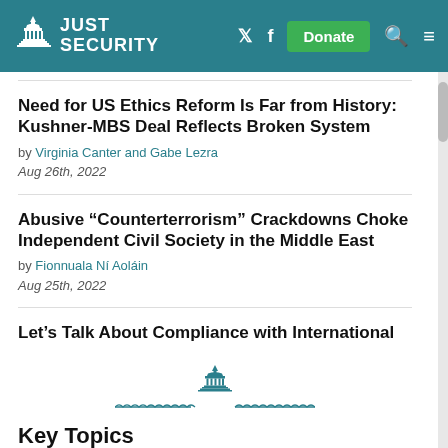JUST SECURITY
Need for US Ethics Reform Is Far from History: Kushner-MBS Deal Reflects Broken System
by Virginia Canter and Gabe Lezra
Aug 26th, 2022
Abusive “Counterterrorism” Crackdowns Choke Independent Civil Society in the Middle East
by Fionnuala Ní Aoláin
Aug 25th, 2022
Let’s Talk About Compliance with International
[Figure (logo): Just Security capitol building logo icon in teal]
Key Topics
Scroll within to view all topics